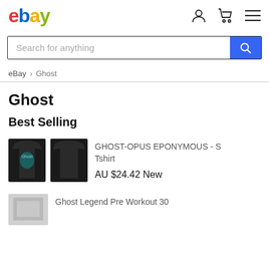eBay header with logo, user icon, cart icon, menu icon
Search for anything
eBay > Ghost
Ghost
Best Selling
[Figure (photo): Two black Ghost band t-shirts - front and back views]
GHOST-OPUS EPONYMOUS - S Tshirt
AU $24.42 New
[Figure (photo): Product image partially visible at bottom]
Ghost Legend Pre Workout 30